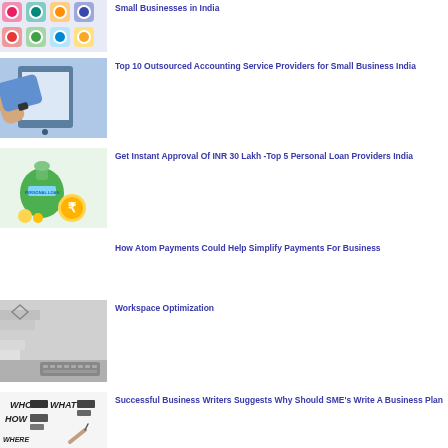[Figure (illustration): Cartoon illustration of social media / messaging app icons with various colored characters]
Small Businesses in India
[Figure (photo): Person using tablet computer on a desk]
Top 10 Outsourced Accounting Service Providers for Small Business India
[Figure (illustration): Personal loan illustration with money bag, coins, and rupee symbol]
Get Instant Approval Of INR 30 Lakh -Top 5 Personal Loan Providers India
How Atom Payments Could Help Simplify Payments For Business
[Figure (photo): Workspace / office interior with stairs and keyboard, black and white photo]
Workspace Optimization
[Figure (illustration): Business plan illustration with WHO, HOW, WHAT, WHERE text and hand writing]
Successful Business Writers Suggests Why Should SME's Write A Business Plan